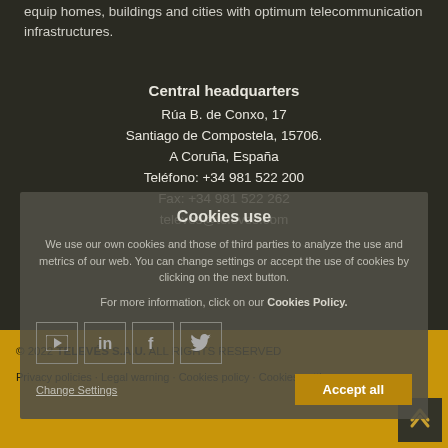equip homes, buildings and cities with optimum telecommunication infrastructures.
Central headquarters
Rúa B. de Conxo, 17
Santiago de Compostela, 15706.
A Coruña, España
Teléfono: +34 981 522 200
Fax: +34 981 522 262
televes@televes.com
Cookies use
We use our own cookies and those of third parties to analyze the use and metrics of our web. You can change settings or accept the use of cookies by clicking on the next button.
For more information, click on our Cookies Policy.
[Figure (other): Social media icons: YouTube, LinkedIn, Facebook, Twitter]
Change Settings
Accept all
© 2022 TELEVÉS S.A.U. ALL RIGHTS RESERVED
Privacy policies · Legal warning · Cookies policy · Cookies settings